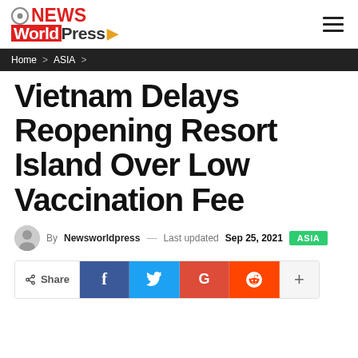NEWS WorldPress — Home > ASIA >
Vietnam Delays Reopening Resort Island Over Low Vaccination Fee
By Newsworldpress — Last updated Sep 25, 2021 ASIA
Share (social share buttons: Facebook, Twitter, Google, Reddit, More)